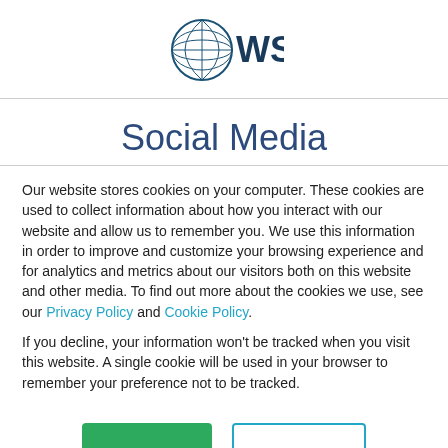[Figure (logo): WSI globe logo with text WSI in dark blue]
Social Media
Our website stores cookies on your computer. These cookies are used to collect information about how you interact with our website and allow us to remember you. We use this information in order to improve and customize your browsing experience and for analytics and metrics about our visitors both on this website and other media. To find out more about the cookies we use, see our Privacy Policy and Cookie Policy.
If you decline, your information won't be tracked when you visit this website. A single cookie will be used in your browser to remember your preference not to be tracked.
Accept | Decline